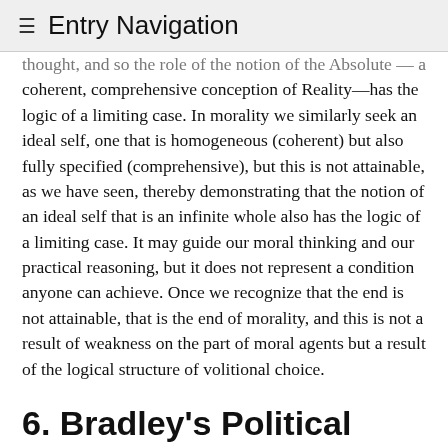≡ Entry Navigation
thought, and so the role of the notion of the Absolute — a coherent, comprehensive conception of Reality—has the logic of a limiting case. In morality we similarly seek an ideal self, one that is homogeneous (coherent) but also fully specified (comprehensive), but this is not attainable, as we have seen, thereby demonstrating that the notion of an ideal self that is an infinite whole also has the logic of a limiting case. It may guide our moral thinking and our practical reasoning, but it does not represent a condition anyone can achieve. Once we recognize that the end is not attainable, that is the end of morality, and this is not a result of weakness on the part of moral agents but a result of the logical structure of volitional choice.
6. Bradley's Political Philosophy
Bradley never produced a book on political philosophy and the few published papers touching on social and